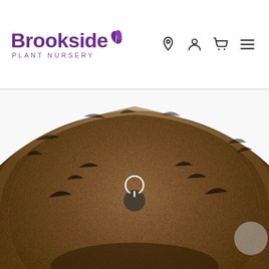[Figure (logo): Brookside Plant Nursery logo with purple text and leaf graphic]
[Figure (photo): Top-down view inside a coco coir / coconut fiber hanging basket liner, brown fibrous texture, bowl shape, with a small circular power/loading icon visible in the center]